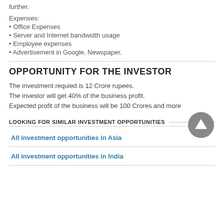further.
Expenses:
Office Expenses
Server and Internet bandwidth usage
Employee expenses
Advertisement in Google, Newspaper.
OPPORTUNITY FOR THE INVESTOR
The investment requied is 12 Crore rupees.
The investor will get 40% of the business profit.
Expected profit of the business will be 100 Crores and more
LOOKING FOR SIMILAR INVESTMENT OPPORTUNITIES
All investment opportunities in Asia
All investment opportunities in India